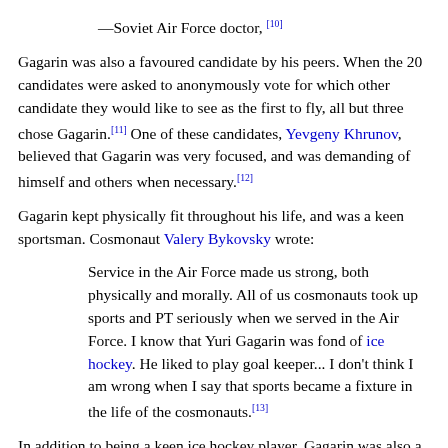has to defend his point of view if he considers himself right; appears that he understands life better than a lot of his friends.
—Soviet Air Force doctor, [10]
Gagarin was also a favoured candidate by his peers. When the 20 candidates were asked to anonymously vote for which other candidate they would like to see as the first to fly, all but three chose Gagarin.[11] One of these candidates, Yevgeny Khrunov, believed that Gagarin was very focused, and was demanding of himself and others when necessary.[12]
Gagarin kept physically fit throughout his life, and was a keen sportsman. Cosmonaut Valery Bykovsky wrote:
Service in the Air Force made us strong, both physically and morally. All of us cosmonauts took up sports and PT seriously when we served in the Air Force. I know that Yuri Gagarin was fond of ice hockey. He liked to play goal keeper... I don't think I am wrong when I say that sports became a fixture in the life of the cosmonauts.[13]
In addition to being a keen ice hockey player, Gagarin was also a basketball fan, and coached the Saratov Industrial Technical